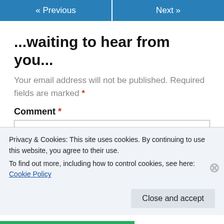« Previous   Next »
...waiting to hear from you...
Your email address will not be published. Required fields are marked *
Comment *
Privacy & Cookies: This site uses cookies. By continuing to use this website, you agree to their use.
To find out more, including how to control cookies, see here: Cookie Policy
Close and accept